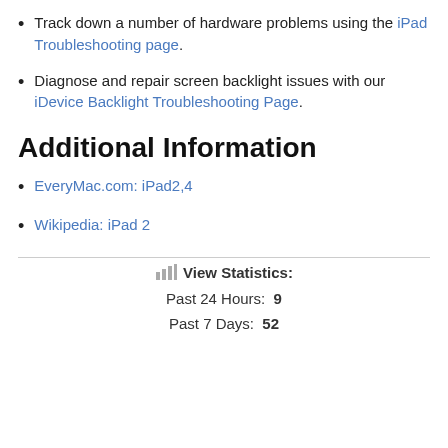Track down a number of hardware problems using the iPad Troubleshooting page.
Diagnose and repair screen backlight issues with our iDevice Backlight Troubleshooting Page.
Additional Information
EveryMac.com: iPad2,4
Wikipedia: iPad 2
View Statistics:
Past 24 Hours:  9
Past 7 Days:  52